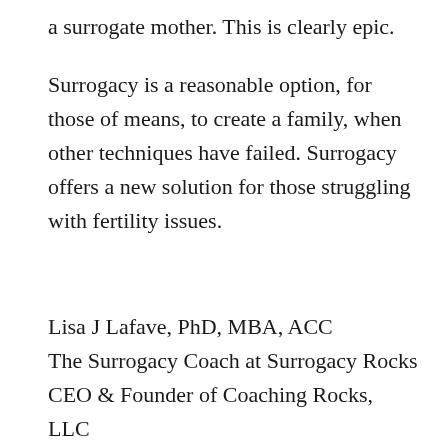a surrogate mother. This is clearly epic.
Surrogacy is a reasonable option, for those of means, to create a family, when other techniques have failed. Surrogacy offers a new solution for those struggling with fertility issues.
Lisa J Lafave, PhD, MBA, ACC
The Surrogacy Coach at Surrogacy Rocks
CEO & Founder of Coaching Rocks, LLC
A Single Mom By Choice of Surrogacy Twin